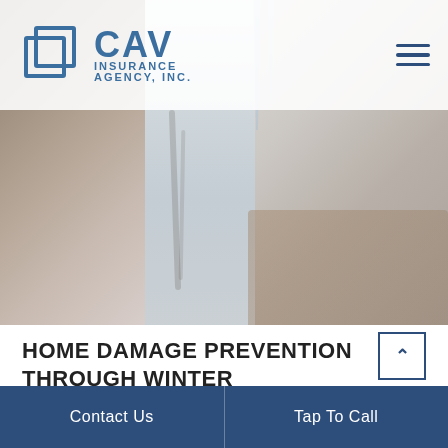[Figure (photo): CAV Insurance Agency website screenshot showing a hero photo of winter/frozen damage (icicles, frost, snow-covered surfaces) with navigation bar at top containing CAV Insurance Agency logo and hamburger menu icon.]
HOME DAMAGE PREVENTION THROUGH WINTER
ARCHIVES   CAV INSURANCE AGENCY
From warm blankets and hot cocoa, there are many seasonal delights we get to enjoy when the weather turns. But as Jack Frost nips the air, causing the mercury to plummet to finger-numbing sub-zero temperatures, there is no place
Contact Us   Tap To Call